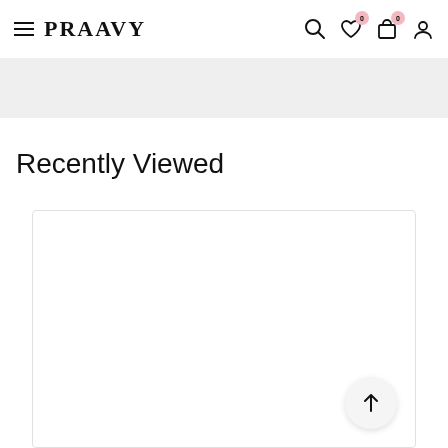PRAAVY
Recently Viewed
[Figure (screenshot): Empty white card area below 'Recently Viewed' section with a scroll-to-top arrow button in the bottom right corner]